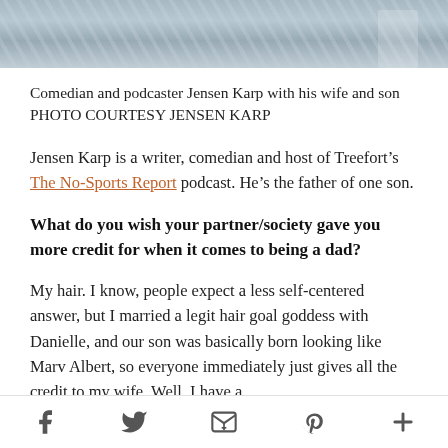[Figure (photo): Top portion of a photo showing a bedroom or fabric/blanket scene with blue patterned textile]
Comedian and podcaster Jensen Karp with his wife and son PHOTO COURTESY JENSEN KARP
Jensen Karp is a writer, comedian and host of Treefort’s The No-Sports Report podcast. He’s the father of one son.
What do you wish your partner/society gave you more credit for when it comes to being a dad?
My hair. I know, people expect a less self-centered answer, but I married a legit hair goal goddess with Danielle, and our son was basically born looking like Marv Albert, so everyone immediately just gives all the credit to my wife. Well, I have a
f   ’  ✉  p  +